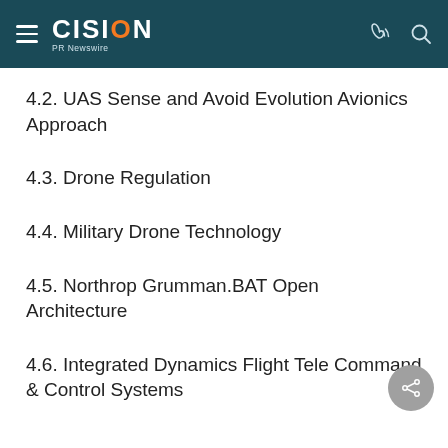CISION PR Newswire
4.2. UAS Sense and Avoid Evolution Avionics Approach
4.3. Drone Regulation
4.4. Military Drone Technology
4.5. Northrop Grumman.BAT Open Architecture
4.6. Integrated Dynamics Flight Tele Command & Control Systems